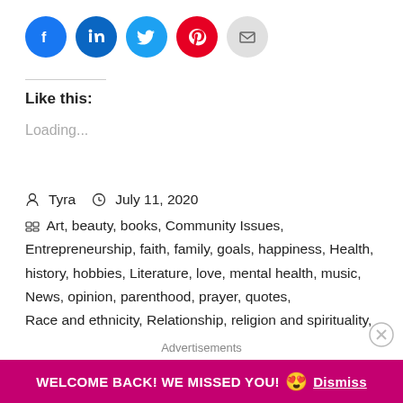[Figure (other): Row of social share buttons: Facebook (blue circle), LinkedIn (dark blue circle), Twitter (light blue circle), Pinterest (red circle), Email (gray circle)]
Like this:
Loading...
Tyra   July 11, 2020
Art, beauty, books, Community Issues, Entrepreneurship, faith, family, goals, happiness, Health, history, hobbies, Literature, love, mental health, music, News, opinion, parenthood, prayer, quotes, Race and ethnicity, Relationship, religion and spirituality, self-care, Self-Help, social media, spirituality, travel,
Advertisements
WELCOME BACK! WE MISSED YOU! 😍 Dismiss